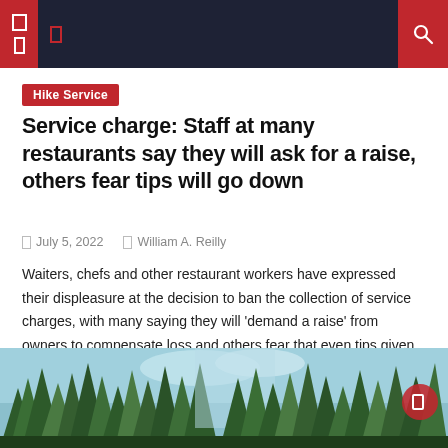Navigation bar with icons and search
Hike Service
Service charge: Staff at many restaurants say they will ask for a raise, others fear tips will go down
July 5, 2022  William A. Reilly
Waiters, chefs and other restaurant workers have expressed their displeasure at the decision to ban the collection of service charges, with many saying they will 'demand a raise' from owners to compensate loss and others fear that even tips given by customers out of goodwill “may now go down”. Prakash Singh Koranga, 27, from Uttarakhand, [...]
[Figure (photo): Forest of tall pine trees against a blue sky with mountains in background]